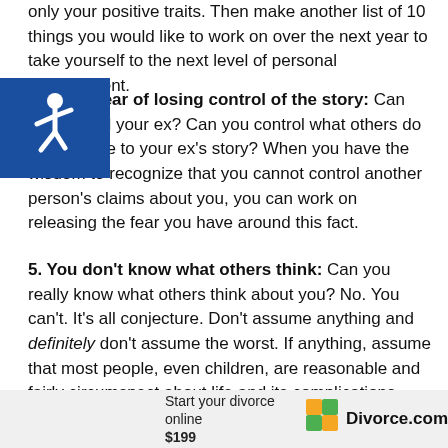only your positive traits. Then make another list of 10 things you would like to work on over the next year to take yourself to the next level of personal development.
Release fear of losing control of the story: Can you control your ex? Can you control what others do in response to your ex's story? When you have the wisdom to recognize that you cannot control another person's claims about you, you can work on releasing the fear you have around this fact.
5. You don't know what others think: Can you really know what others think about you? No. You can't. It's all conjecture. Don't assume anything and definitely don't assume the worst. If anything, assume that most people, even children, are reasonable and fairly circumspect about life and its complications.
[Figure (other): Blue square accessibility icon with wheelchair symbol in white]
Start your divorce online
$199
[Figure (logo): Divorce.com logo with orange and green quadrant icon]